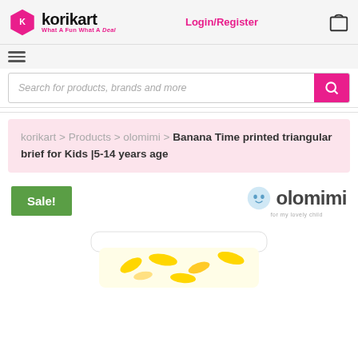korikart — What A Fun What A Deal | Login/Register
Search for products, brands and more
korikart > Products > olomimi > Banana Time printed triangular brief for Kids |5-14 years age
Sale!
[Figure (logo): olomimi brand logo — stylized face icon with text 'olomimi' and subtitle 'for my lovely child']
[Figure (photo): Product image of banana-print triangular brief for kids, partially visible at the bottom of the page]